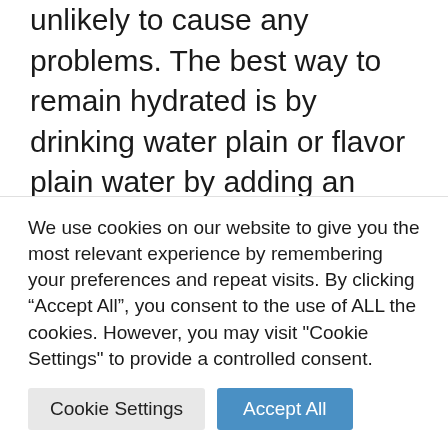unlikely to cause any problems. The best way to remain hydrated is by drinking water plain or flavor plain water by adding an
Are there any minerals in Crystal Light Water?
There are a few or none calories (depending on the flavor) There are no fats and
We use cookies on our website to give you the most relevant experience by remembering your preferences and repeat visits. By clicking “Accept All”, you consent to the use of ALL the cookies. However, you may visit "Cookie Settings" to provide a controlled consent.
Cookie Settings | Accept All